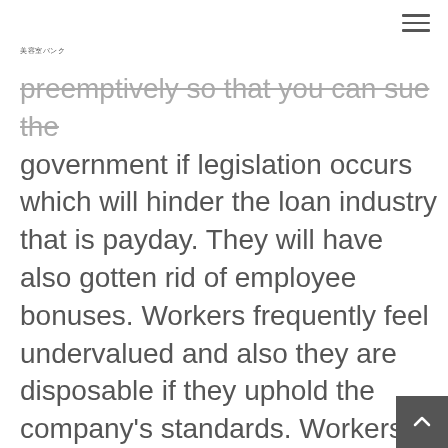美容室バンク
preemptively so that you can sue the government if legislation occurs which will hinder the loan industry that is payday. They will have also gotten rid of employee bonuses. Workers frequently feel undervalued and also they are disposable if they uphold the company's standards. Workers feel caught to keep simply because they've been trained to trust which they could perhaps perhaps perhaps not find better employment. Upper Management is very uneducated and sometimes distribute email messag